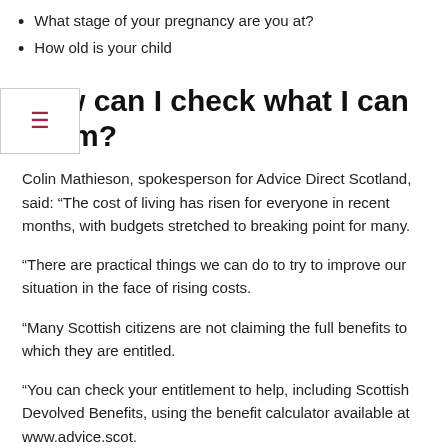What stage of your pregnancy are you at?
How old is your child
How can I check what I can claim?
Colin Mathieson, spokesperson for Advice Direct Scotland, said: “The cost of living has risen for everyone in recent months, with budgets stretched to breaking point for many.
“There are practical things we can do to try to improve our situation in the face of rising costs.
“Many Scottish citizens are not claiming the full benefits to which they are entitled.
“You can check your entitlement to help, including Scottish Devolved Benefits, using the benefit calculator available at www.advice.scot.